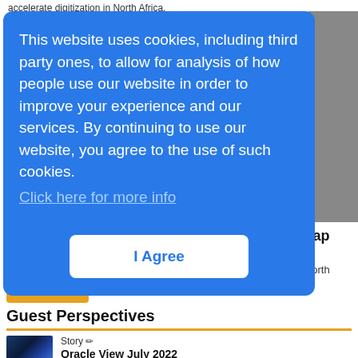accelerate digitization in North Africa.
This website uses cookies, including third party ones, to allow for analysis of how people use our website in order to improve your experience and our services. By continuing to use our website, you agree to the use of such cookies. Click here for more info
I Agree
North Africa Com 2022: Closing the gender gap
27:29
A panel discussion at North Africa Com 2022 about how to close North
More videos
Guest Perspectives
Story
Oracle View July 2022